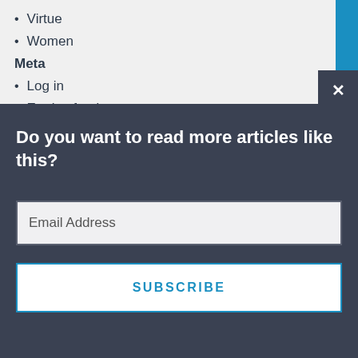Virtue
Women
Meta
Log in
Entries feed
Do you want to read more articles like this?
Email Address
SUBSCRIBE